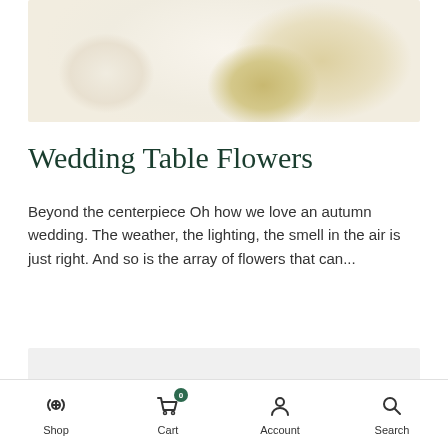[Figure (photo): Close-up photo of a white wedding cake or floral arrangement with cream and golden-yellow textured elements against a light background]
Wedding Table Flowers
Beyond the centerpiece Oh how we love an autumn wedding. The weather, the lighting, the smell in the air is just right. And so is the array of flowers that can...
[Figure (photo): Partially visible card or image in a light grey rectangle at the bottom of the content area]
Shop   Cart   Account   Search